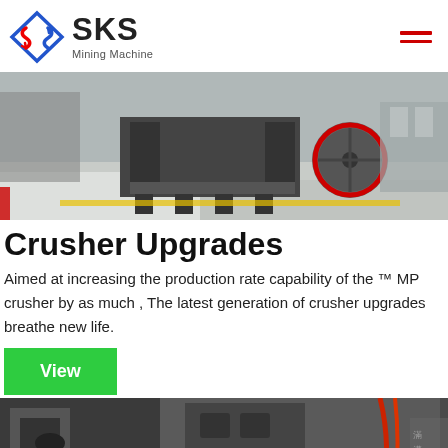SKS Mining Machine
[Figure (photo): Industrial mining crusher machine on a factory floor with white gravel/aggregate material, large flywheel visible]
Crusher Upgrades
Aimed at increasing the production rate capability of the ™ MP crusher by as much , The latest generation of crusher upgrades breathe new life.
View
[Figure (photo): Close-up of industrial crusher machine components showing metal frame and hydraulic/electric cables]